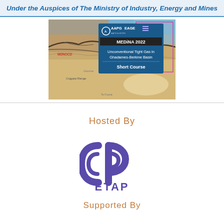Under the Auspices of The Ministry of Industry, Energy and Mines
[Figure (map): AAPG EAGE MEDiNA 2022 short course map showing Ghadames-Berkine Basin region with overlay text: Unconventional Tight Gas in Ghadames-Berkine Basin Short Course. Map shows North Africa region including MDNOCD, Tripol, LIBYA markings, Oujgata Range, Ghadames, and other geographic features.]
Hosted By
[Figure (logo): ETAP logo - stylized circular/arc design in blue/purple color with letters ETAP below in blue]
Supported By